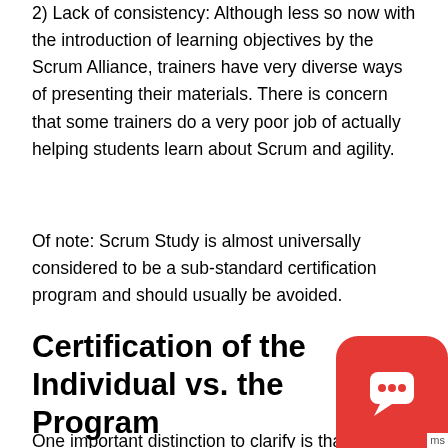2) Lack of consistency: Although less so now with the introduction of learning objectives by the Scrum Alliance, trainers have very diverse ways of presenting their materials. There is concern that some trainers do a very poor job of actually helping students learn about Scrum and agility.
Of note: Scrum Study is almost universally considered to be a sub-standard certification program and should usually be avoided.
Certification of the Individual vs. the Program
One important distinction to clarify is that often a